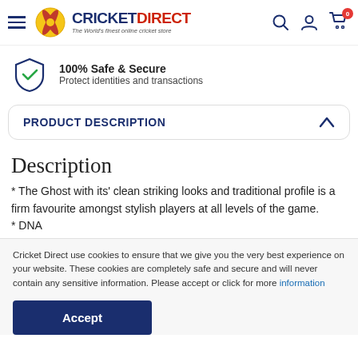CricketDirect - The World's finest online cricket store
100% Safe & Secure — Protect identities and transactions
PRODUCT DESCRIPTION
Description
* The Ghost with its' clean striking looks and traditional profile is a firm favourite amongst stylish players at all levels of the game.
* DNA
Cricket Direct use cookies to ensure that we give you the very best experience on your website. These cookies are completely safe and secure and will never contain any sensitive information. Please accept or click for more information